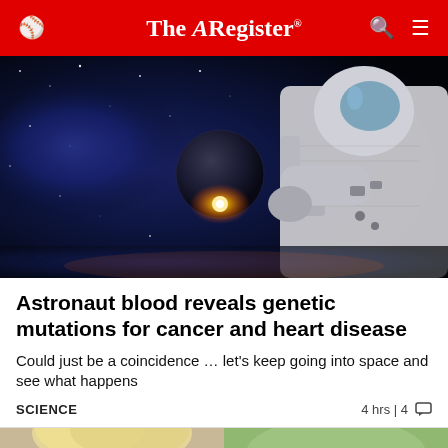The Register
[Figure (photo): An astronaut in a spacesuit holding a glowing planet/orb in deep space with stars and a nebula in the background]
Astronaut blood reveals genetic mutations for cancer and heart disease
Could just be a coincidence … let's keep going into space and see what happens
SCIENCE   4 hrs | 4 comments
[Figure (photo): Partial view of a second article image showing a person with blonde hair]